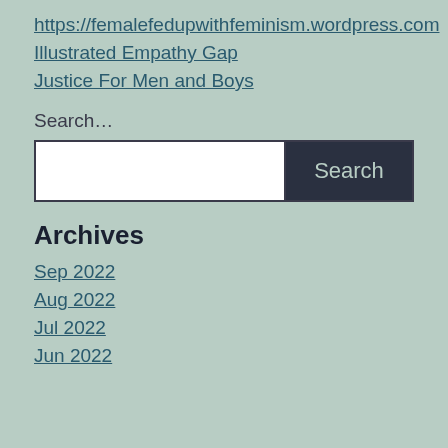https://femalefedupwithfeminism.wordpress.com
Illustrated Empathy Gap
Justice For Men and Boys
Search…
Archives
Sep 2022
Aug 2022
Jul 2022
Jun 2022